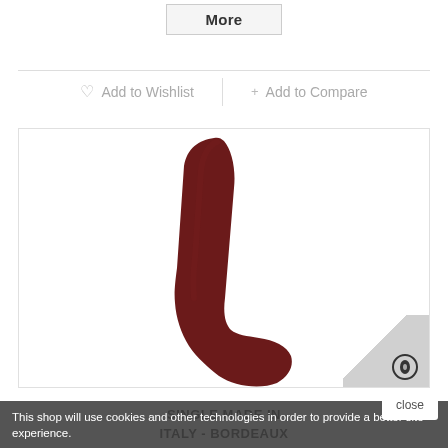More
♡  Add to Wishlist   +  Add to Compare
[Figure (photo): A dark bordeaux/dark red crew sock shown standing upright on its own against a white background, photographed at an angle showing heel and leg.]
This shop will use cookies and other technologies in order to provide a better site experience.
SINGLE MADE IN ITALY - BORDEAUX